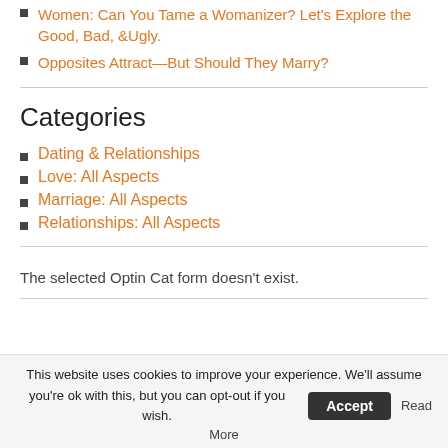Women: Can You Tame a Womanizer? Let's Explore the Good, Bad, &Ugly.
Opposites Attract—But Should They Marry?
Categories
Dating & Relationships
Love: All Aspects
Marriage: All Aspects
Relationships: All Aspects
The selected Optin Cat form doesn't exist.
This website uses cookies to improve your experience. We'll assume you're ok with this, but you can opt-out if you wish. Accept Read More